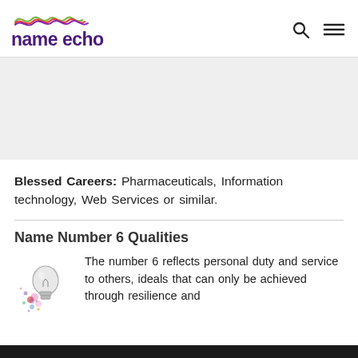name echo
[Figure (logo): Name Echo logo with colorful wave lines above purple bold text 'name echo']
Blessed Careers: Pharmaceuticals, Information technology, Web Services or similar.
Name Number 6 Qualities
[Figure (illustration): Colorful illustrated lightbulb with splatter paint effect]
The number 6 reflects personal duty and service to others, ideals that can only be achieved through resilience and